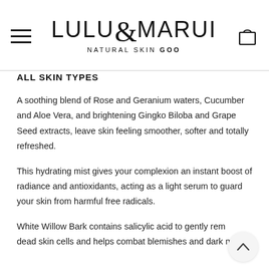LULU&MARUI — NATURAL SKIN GOODS
ALL SKIN TYPES
A soothing blend of Rose and Geranium waters, Cucumber and Aloe Vera, and brightening Gingko Biloba and Grape Seed extracts, leave skin feeling smoother, softer and totally refreshed.
This hydrating mist gives your complexion an instant boost of radiance and antioxidants, acting as a light serum to guard your skin from harmful free radicals.
White Willow Bark contains salicylic acid to gently remove dead skin cells and helps combat blemishes and dark marks.